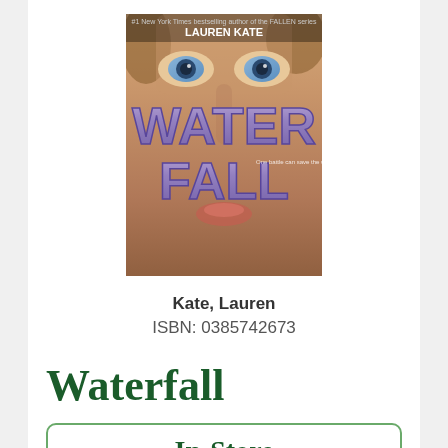[Figure (photo): Book cover of 'Waterfall' by Lauren Kate, showing a close-up of a woman's face with blue eyes and large stylized purple letters spelling WATERFALL across the cover.]
Kate, Lauren
ISBN: 0385742673
Waterfall
In-Store